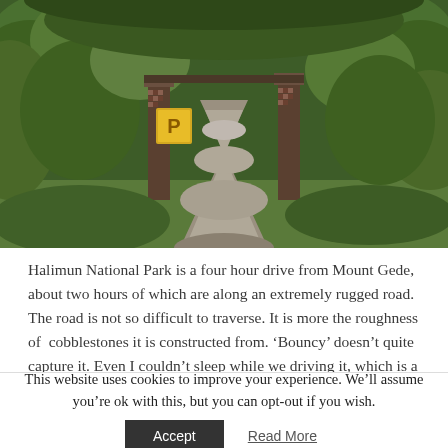[Figure (photo): A narrow gravel path leading through dense tropical forest with lush green vegetation on both sides. Stone or mosaic pillars flank the entrance gate. A yellow sign is visible on the left pillar.]
Halimun National Park is a four hour drive from Mount Gede, about two hours of which are along an extremely rugged road. The road is not so difficult to traverse. It is more the roughness of cobblestones it is constructed from. 'Bouncy' doesn't quite capture it. Even I couldn't sleep while we driving it, which is a first. If you went
This website uses cookies to improve your experience. We'll assume you're ok with this, but you can opt-out if you wish.